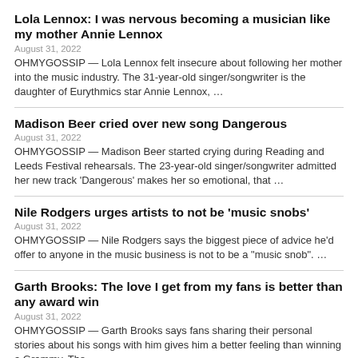Lola Lennox: I was nervous becoming a musician like my mother Annie Lennox
August 31, 2022
OHMYGOSSIP — Lola Lennox felt insecure about following her mother into the music industry. The 31-year-old singer/songwriter is the daughter of Eurythmics star Annie Lennox, …
Madison Beer cried over new song Dangerous
August 31, 2022
OHMYGOSSIP — Madison Beer started crying during Reading and Leeds Festival rehearsals. The 23-year-old singer/songwriter admitted her new track 'Dangerous' makes her so emotional, that …
Nile Rodgers urges artists to not be 'music snobs'
August 31, 2022
OHMYGOSSIP — Nile Rodgers says the biggest piece of advice he'd offer to anyone in the music business is not to be a "music snob". …
Garth Brooks: The love I get from my fans is better than any award win
August 31, 2022
OHMYGOSSIP — Garth Brooks says fans sharing their personal stories about his songs with him gives him a better feeling than winning a Grammy. The …